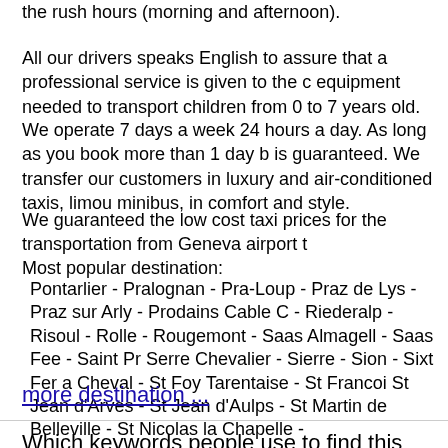the rush hours (morning and afternoon).
All our drivers speaks English to assure that a professional service is given to the c equipment needed to transport children from 0 to 7 years old.
We operate 7 days a week 24 hours a day. As long as you book more than 1 day b is guaranteed. We transfer our customers in luxury and air-conditioned taxis, limou minibus, in comfort and style.
We guaranteed the low cost taxi prices for the transportation from Geneva airport t
Most popular destination:
Pontarlier - Pralognan - Pra-Loup - Praz de Lys - Praz sur Arly - Prodains Cable C - Riederalp - Risoul - Rolle - Rougemont - Saas Almagell - Saas Fee - Saint Pr Serre Chevalier - Sierre - Sion - Sixt Fer a Cheval - St Foy Tarentaise - St Francoi St Jean d'Arves - St Jean d'Aulps - St Martin de Belleville - St Nicolas la Chapelle -
more destination ...
Which keywords people use to find this page:
geneva to lausanne train geneva to lausanne trains taxi geneva to aigle geneva airpo geneva public transport public transport geneva rent a car geneva airport taxi lausanne from geneva airport geneva airport transportation naperville taxi trains from geneva to zuric geneva switzerland airport taxi geneve aeroport train from geneva to chamonix geneva zurich bern zermatt geneva train shuttle from geneva to chamonix flights to geneva evit